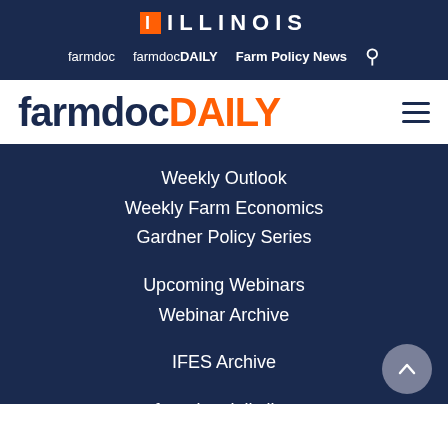ILLINOIS
farmdoc  farmdocDAILY  Farm Policy News
farmdocDAILY
Weekly Outlook
Weekly Farm Economics
Gardner Policy Series
Upcoming Webinars
Webinar Archive
IFES Archive
farmdoc daily live
farmdoc daily live archive
Subscribe